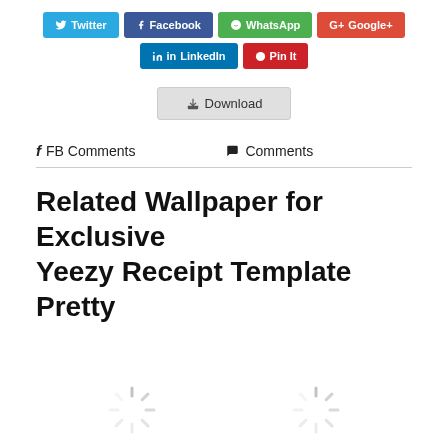[Figure (other): Social sharing buttons row 1: Twitter, Facebook, WhatsApp, Google+]
[Figure (other): Social sharing buttons row 2: LinkedIn, Pin It]
[Figure (other): Download button with download icon]
FB Comments   Comments
Related Wallpaper for Exclusive Yeezy Receipt Template Pretty
[Figure (other): Two loading spinner icons side by side]